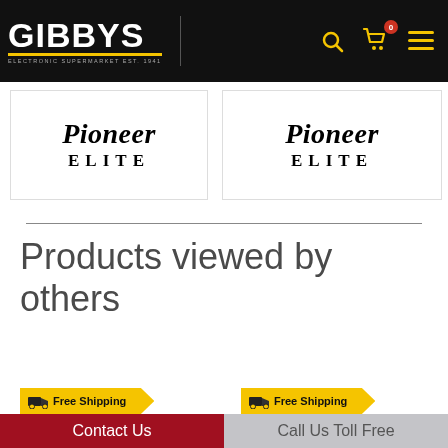[Figure (screenshot): Gibbys Electronic Supermarket website navigation bar with logo, search icon, cart icon with badge showing 0, and hamburger menu icon]
[Figure (logo): Pioneer Elite logo — italic Pioneer script above ELITE in spaced caps]
[Figure (logo): Pioneer Elite logo — italic Pioneer script above ELITE in spaced caps]
Products viewed by others
Free Shipping
Free Shipping
Contact Us
Call Us Toll Free